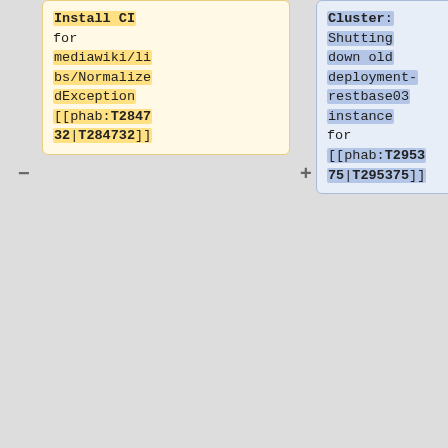Install CI for mediawiki/libs/NormalizedException [[phab:T284732|T284732]]
Cluster: Shutting down old deployment-restbase03 instance for [[phab:T295375|T295375]]
* 05:44 majavah: restart trafficserver-tls.service on deployment-cache-upload06, was using an expired
* 20:33 hashar: Manually cancelling deadlock build jobs for beta https://integration.wikimedia.org/ci/view/Beta/#